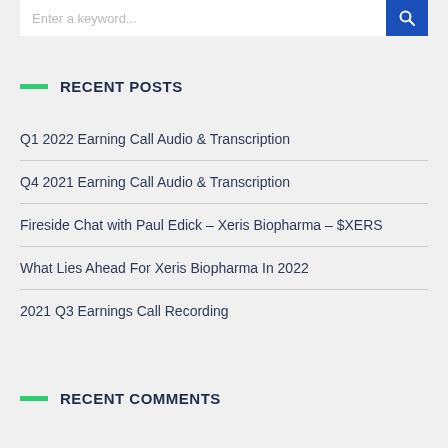[Figure (other): Search input bar with blue search button]
RECENT POSTS
Q1 2022 Earning Call Audio & Transcription
Q4 2021 Earning Call Audio & Transcription
Fireside Chat with Paul Edick – Xeris Biopharma – $XERS
What Lies Ahead For Xeris Biopharma In 2022
2021 Q3 Earnings Call Recording
RECENT COMMENTS